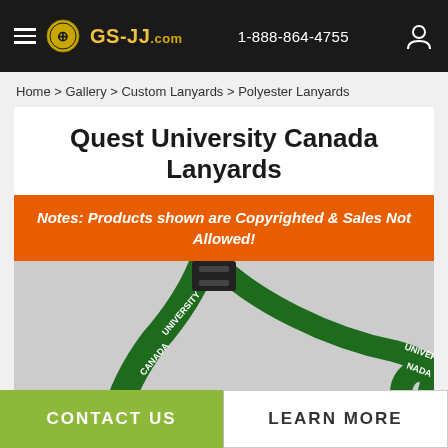GS-JJ.com | 1-888-864-4755
Home > Gallery > Custom Lanyards > Polyester Lanyards
Quest University Canada Lanyards
Notes: Products shown are Copyrighted & Sales Not Allowed!
[Figure (photo): Green polyester lanyards with black clip, printed with 'UNIVERSITY CANADA' text]
CONTACT US
LEARN MORE